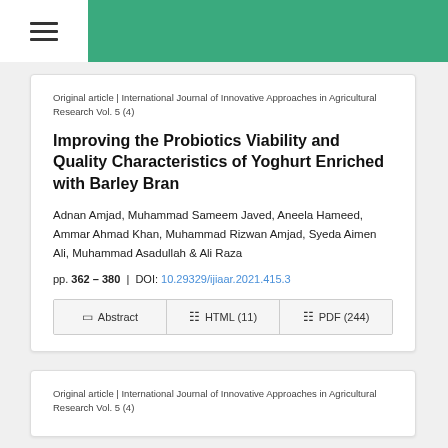Original article | International Journal of Innovative Approaches in Agricultural Research Vol. 5 (4)
Improving the Probiotics Viability and Quality Characteristics of Yoghurt Enriched with Barley Bran
Adnan Amjad, Muhammad Sameem Javed, Aneela Hameed, Ammar Ahmad Khan, Muhammad Rizwan Amjad, Syeda Aimen Ali, Muhammad Asadullah & Ali Raza
pp. 362 – 380  |  DOI: 10.29329/ijiaar.2021.415.3
Abstract  |  HTML (11)  |  PDF (244)
Original article | International Journal of Innovative Approaches in Agricultural Research Vol. 5 (4)